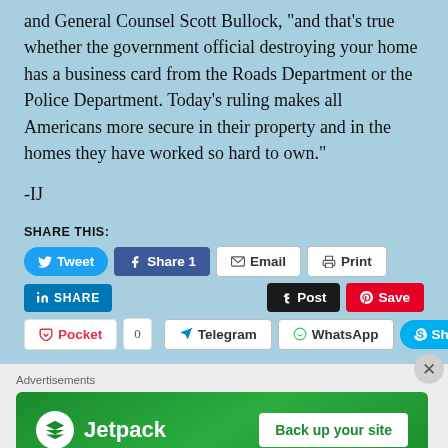and General Counsel Scott Bullock, “and that’s true whether the government official destroying your home has a business card from the Roads Department or the Police Department. Today’s ruling makes all Americans more secure in their property and in the homes they have worked so hard to own.”
-IJ
SHARE THIS:
[Figure (screenshot): Social sharing buttons: Tweet, Share 1 (Facebook), Email, Print, LinkedIn SHARE, Tumblr Post, Pinterest Save, Pocket 0, Telegram, WhatsApp, Skype Share]
[Figure (infographic): Jetpack advertisement banner with green background, Jetpack logo and text, and a white button reading 'Back up your site']